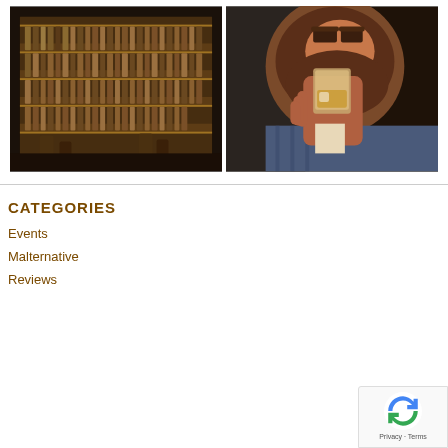[Figure (photo): Interior of a whisky bar with shelves lined with many bottles of whisky, golden/warm lighting]
[Figure (photo): Bearded man in a suit holding and drinking from a whisky glass, close-up shot]
CATEGORIES
Events
Malternative
Reviews